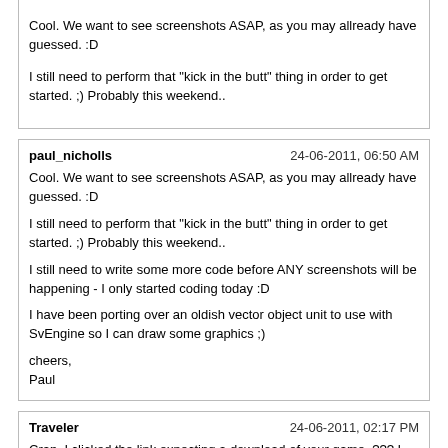Cool. We want to see screenshots ASAP, as you may allready have guessed. :D

I still need to perform that "kick in the butt" thing in order to get started. ;) Probably this weekend..
paul_nicholls | 24-06-2011, 06:50 AM

Cool. We want to see screenshots ASAP, as you may allready have guessed. :D

I still need to perform that "kick in the butt" thing in order to get started. ;) Probably this weekend..

I still need to write some more code before ANY screenshots will be happening - I only started coding today :D

I have been porting over an oldish vector object unit to use with SvEngine so I can draw some graphics ;)

cheers,
Paul
Traveler | 24-06-2011, 02:17 PM

Crap, I clicked the link expecting a download of your game. ??? I should've read more carefully.

I second chronozphere's notion. I have this weekend set for a game. Got a few ideas in mind that may or may not work out. If they do then I'll post. If not then you can find me sobbing in a corner somewhere.
code_glitch | 24-06-2011, 04:27 PM

Well, if you don't get those screenies done, I'll post up my BSODs from over